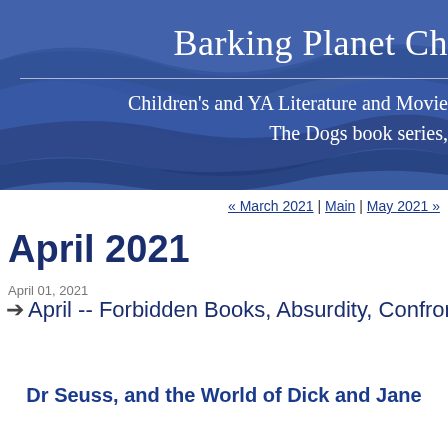Barking Planet Ch
Children's and YA Literature and Movie  The Dogs book series,
« March 2021 | Main | May 2021 »
April 2021
April 01, 2021
➔ April -- Forbidden Books, Absurdity, Confron
Dr Seuss, and the World of Dick and Jane